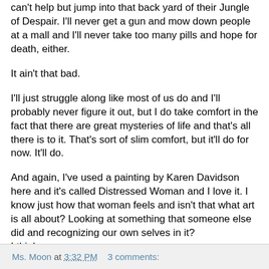can't help but jump into that back yard of their Jungle of Despair. I'll never get a gun and mow down people at a mall and I'll never take too many pills and hope for death, either.
It ain't that bad.
I'll just struggle along like most of us do and I'll probably never figure it out, but I do take comfort in the fact that there are great mysteries of life and that's all there is to it. That's sort of slim comfort, but it'll do for now. It'll do.
And again, I've used a painting by Karen Davidson here and it's called Distressed Woman and I love it. I know just how that woman feels and isn't that what art is all about? Looking at something that someone else did and recognizing our own selves in it? I think so. Karen- you're an artist. Send me more pictures, please.
Ms. Moon at 3:32 PM    3 comments: